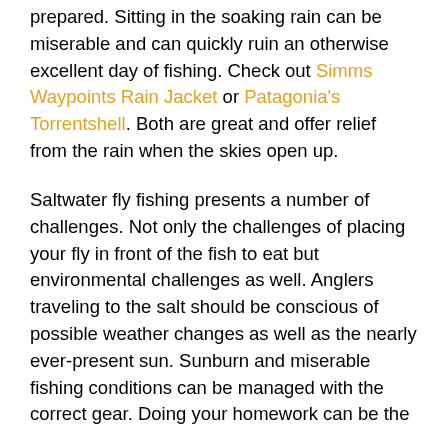prepared. Sitting in the soaking rain can be miserable and can quickly ruin an otherwise excellent day of fishing. Check out Simms Waypoints Rain Jacket or Patagonia's Torrentshell. Both are great and offer relief from the rain when the skies open up.
Saltwater fly fishing presents a number of challenges. Not only the challenges of placing your fly in front of the fish to eat but environmental challenges as well. Anglers traveling to the salt should be conscious of possible weather changes as well as the nearly ever-present sun. Sunburn and miserable fishing conditions can be managed with the correct gear. Doing your homework can be the